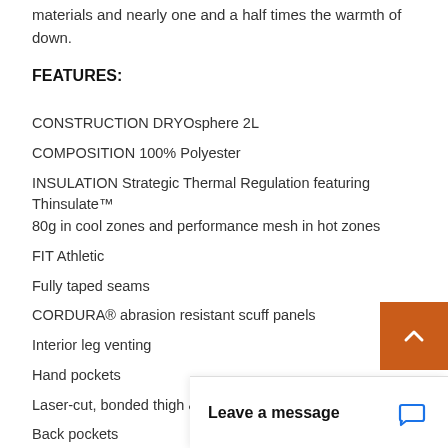materials and nearly one and a half times the warmth of down.
FEATURES:
CONSTRUCTION DRYOsphere 2L
COMPOSITION 100% Polyester
INSULATION Strategic Thermal Regulation featuring Thinsulate™ 80g in cool zones and performance mesh in hot zones
FIT Athletic
Fully taped seams
CORDURA® abrasion resistant scuff panels
Interior leg venting
Hand pockets
Laser-cut, bonded thigh & k
Back pockets